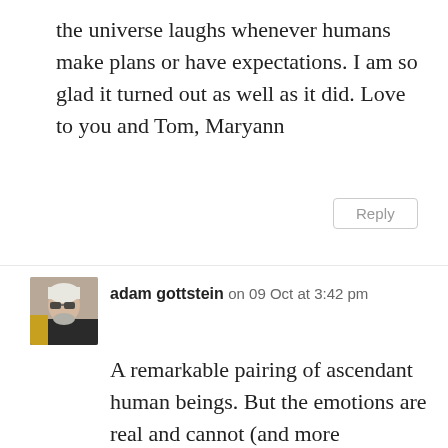the universe laughs whenever humans make plans or have expectations. I am so glad it turned out as well as it did. Love to you and Tom, Maryann
Reply
[Figure (photo): Avatar photo of adam gottstein: a person with white/grey hair and sunglasses, wearing dark top with yellow/orange visible]
adam gottstein on 09 Oct at 3:42 pm
A remarkable pairing of ascendant human beings. But the emotions are real and cannot (and more importantly,